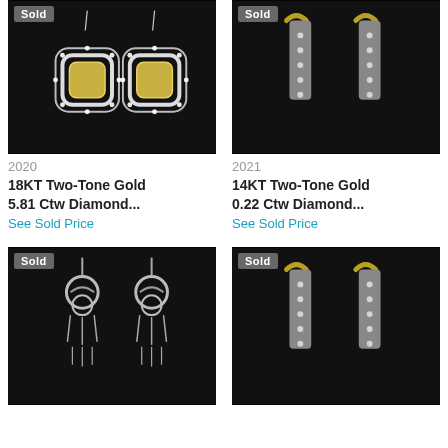[Figure (photo): Two diamond drop earrings with yellow center stones in double halo setting on black background. 'Sold' badge top-left.]
[Figure (photo): Two-tone gold hoop/bar earrings with diamonds and yellow gold accent on black background. 'Sold' badge top-left.]
2020
2021
18KT Two-Tone Gold 5.81 Ctw Diamond...
14KT Two-Tone Gold 0.22 Ctw Diamond...
See Sold Price
See Sold Price
[Figure (photo): Two ornate chandelier-style earrings with crescent moon motifs and dangling elements on black background. 'Sold' badge top-left.]
[Figure (photo): Two-tone gold hoop/bar earrings with diamonds and yellow gold accent on black background. 'Sold' badge top-left.]